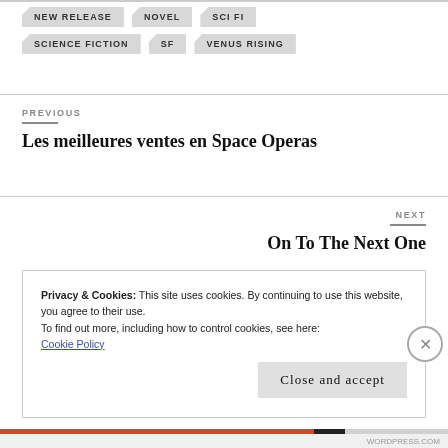NEW RELEASE
NOVEL
SCI FI
SCIENCE FICTION
SF
VENUS RISING
PREVIOUS
Les meilleures ventes en Space Operas
NEXT
On To The Next One
Privacy & Cookies: This site uses cookies. By continuing to use this website, you agree to their use.
To find out more, including how to control cookies, see here:
Cookie Policy
Close and accept